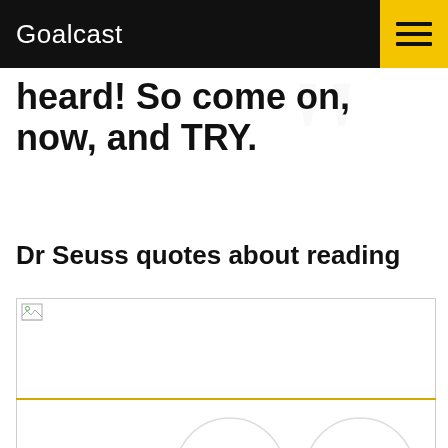Goalcast
heard! So come on, now, and TRY.
Dr Seuss quotes about reading
[Figure (photo): Image placeholder (broken image icon) for a Dr Seuss reading quote illustration]